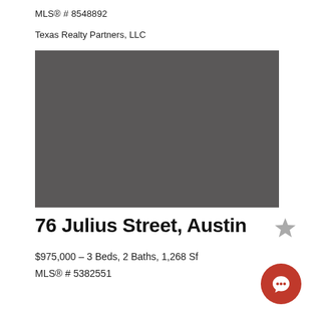MLS® # 8548892
Texas Realty Partners, LLC
[Figure (photo): Gray placeholder image for property photo]
76 Julius Street, Austin
$975,000 – 3 Beds, 2 Baths, 1,268 Sf
MLS® # 5382551